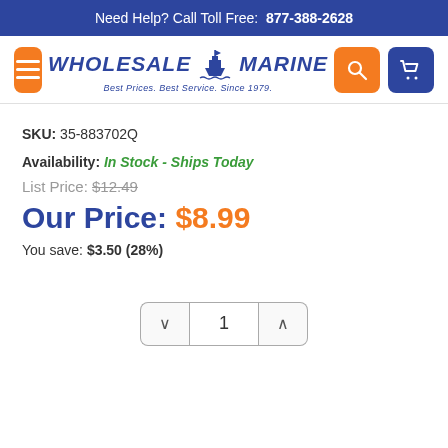Need Help? Call Toll Free: 877-388-2628
[Figure (logo): Wholesale Marine logo with ship icon, tagline: Best Prices. Best Service. Since 1979.]
SKU: 35-883702Q
Availability: In Stock - Ships Today
List Price: $12.49
Our Price: $8.99
You save: $3.50 (28%)